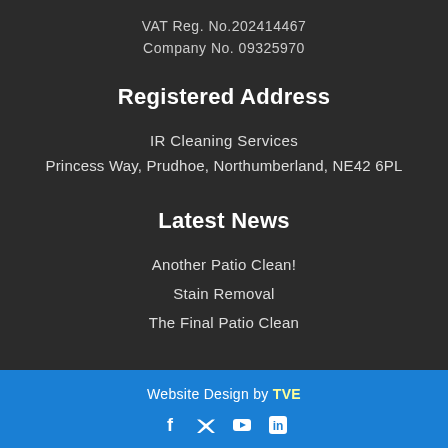VAT Reg. No.202414467
Company No. 09325970
Registered Address
IR Cleaning Services
Princess Way, Prudhoe, Northumberland, NE42 6PL
Latest News
Another Patio Clean!
Stain Removal
The Final Patio Clean
Website Design by TVE
[Figure (other): Social media icons: Facebook, Twitter, YouTube, LinkedIn]